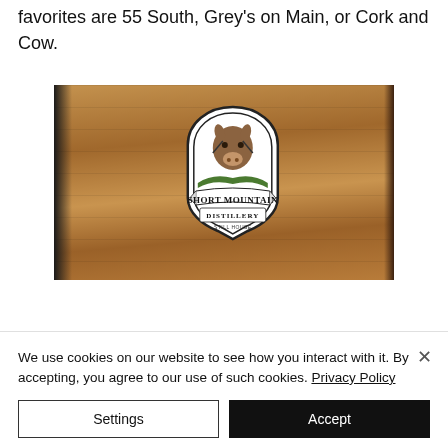favorites are 55 South, Grey's on Main, or Cork and Cow.
[Figure (photo): Photo of a Short Mountain Distillery Still House sign mounted on a rustic wooden plank wall. The sign features a mule illustration with the text 'Short Mountain Distillery Still House'.]
We use cookies on our website to see how you interact with it. By accepting, you agree to our use of such cookies. Privacy Policy
Settings
Accept